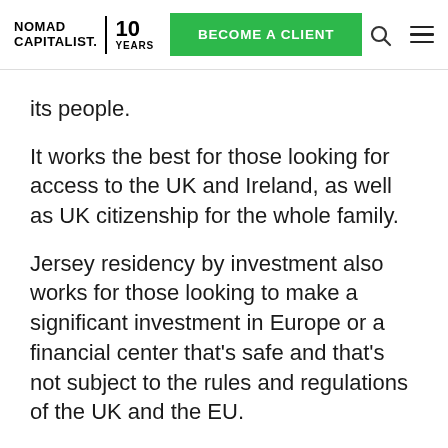NOMAD CAPITALIST. 10 YEARS | BECOME A CLIENT
its people.
It works the best for those looking for access to the UK and Ireland, as well as UK citizenship for the whole family.
Jersey residency by investment also works for those looking to make a significant investment in Europe or a financial center that’s safe and that’s not subject to the rules and regulations of the UK and the EU.